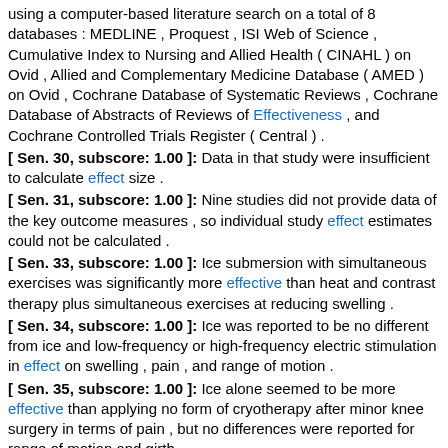using a computer-based literature search on a total of 8 databases : MEDLINE , Proquest , ISI Web of Science , Cumulative Index to Nursing and Allied Health ( CINAHL ) on Ovid , Allied and Complementary Medicine Database ( AMED ) on Ovid , Cochrane Database of Systematic Reviews , Cochrane Database of Abstracts of Reviews of Effectiveness , and Cochrane Controlled Trials Register ( Central ) .
[ Sen. 30, subscore: 1.00 ]: Data in that study were insufficient to calculate effect size .
[ Sen. 31, subscore: 1.00 ]: Nine studies did not provide data of the key outcome measures , so individual study effect estimates could not be calculated .
[ Sen. 33, subscore: 1.00 ]: Ice submersion with simultaneous exercises was significantly more effective than heat and contrast therapy plus simultaneous exercises at reducing swelling .
[ Sen. 34, subscore: 1.00 ]: Ice was reported to be no different from ice and low-frequency or high-frequency electric stimulation in effect on swelling , pain , and range of motion .
[ Sen. 35, subscore: 1.00 ]: Ice alone seemed to be more effective than applying no form of cryotherapy after minor knee surgery in terms of pain , but no differences were reported for range of motion and girth .
[ Sen. 37, subscore: 1.00 ]: Evidence was marginal that a single simultaneous treatment with ice and compression is no more effective than no cryotherapy after an ankle sprain .
[ Sen. 38, subscore: 1.00 ]: The authors reported ice to be no more effective than rehabilitation only with regard to pain , swelling , and range of motion .
[ Sen. 39, subscore: 1.00 ]: Ice and compression seemed to be significantly more effective than ice alone in terms of decreasing pain .
[ Sen. 41, subscore: 1.00 ]: Lastly , in 8 studies , there seemed to be little difference in the effectiveness of ice and compression compared